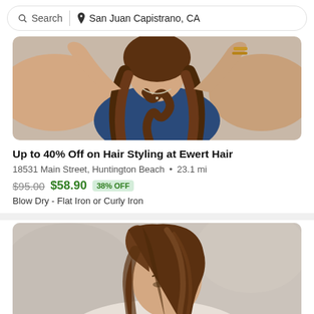Search | San Juan Capistrano, CA
[Figure (photo): Woman in navy blue top with long wavy brown hair, hands raised behind head]
Up to 40% Off on Hair Styling at Ewert Hair
18531 Main Street, Huntington Beach • 23.1 mi
$95.00  $58.90  38% OFF
Blow Dry - Flat Iron or Curly Iron
[Figure (photo): Woman with long wavy brown hair, looking down, on grey background]